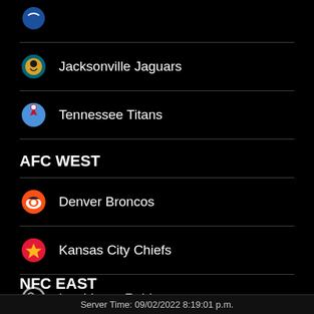(partial top item — team name cut off)
Jacksonville Jaguars
Tennessee Titans
AFC WEST
Denver Broncos
Kansas City Chiefs
Las Vegas Raiders
Los Angeles Chargers
NFC EAST
Server Time: 09/02/2022 8:19:01 p.m.